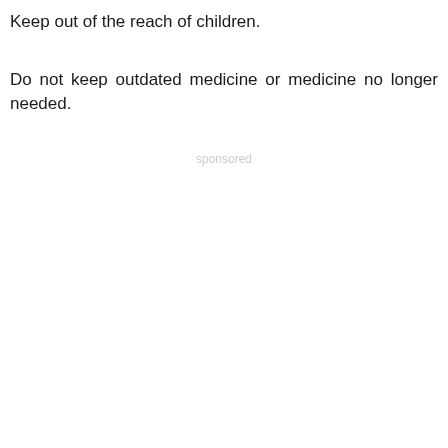Keep out of the reach of children.
Do not keep outdated medicine or medicine no longer needed.
sponsored